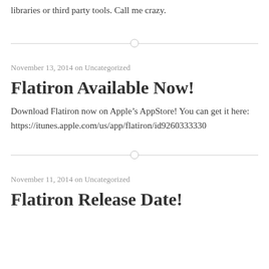libraries or third party tools.  Call me crazy.
November 13, 2014 on Uncategorized
Flatiron Available Now!
Download Flatiron now on Apple’s AppStore!  You can get it here: https://itunes.apple.com/us/app/flatiron/id9260333330
November 11, 2014 on Uncategorized
Flatiron Release Date!